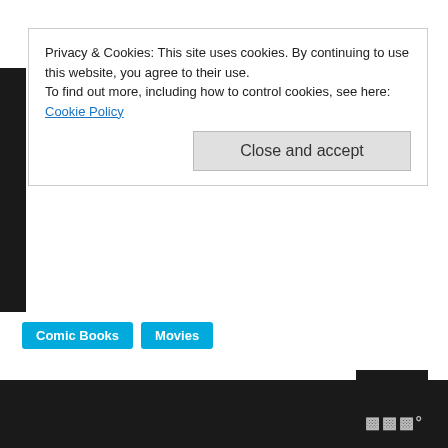Privacy & Cookies: This site uses cookies. By continuing to use this website, you agree to their use.
To find out more, including how to control cookies, see here: Cookie Policy
Close and accept
Comic Books
Movies
March 7, 2014   Tom Fassbender
4
Thank the creator
Yesterday Ken posted a link to the new extended trailer for Captain America: The Winter Soldier.
The trailer itself is pretty great, but I found it particularly noteworthy because it featured an appearance by none other than Batroc the Leaper.